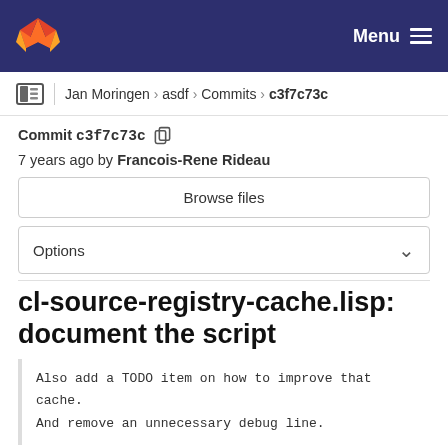GitLab navigation bar with logo and Menu button
Jan Moringen > asdf > Commits > c3f7c73c
Commit c3f7c73c 7 years ago by Francois-Rene Rideau
Browse files
Options
cl-source-registry-cache.lisp: document the script
Also add a TODO item on how to improve that cache.
And remove an unnecessary debug line.
parent dafb99e8